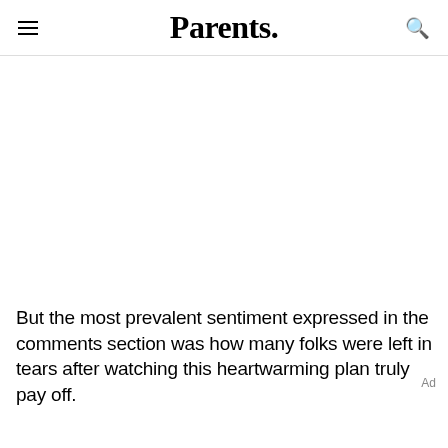Parents.
But the most prevalent sentiment expressed in the comments section was how many folks were left in tears after watching this heartwarming plan truly pay off.
Ad